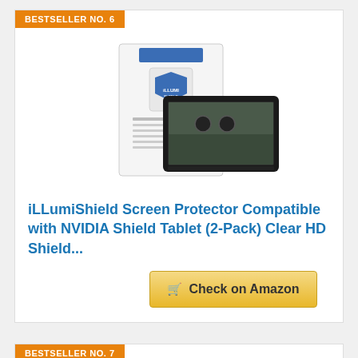BESTSELLER NO. 6
[Figure (photo): iLLumiShield screen protector product image showing packaging and a tablet with the shield applied]
iLLumiShield Screen Protector Compatible with NVIDIA Shield Tablet (2-Pack) Clear HD Shield...
Check on Amazon
BESTSELLER NO. 7
[Figure (photo): Tablet case/cover product image showing a black tablet open and closed]